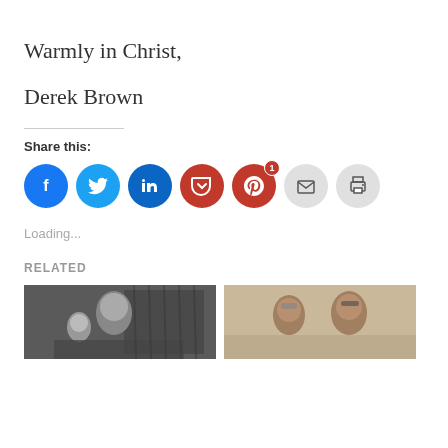Warmly in Christ,
Derek Brown
Share this:
[Figure (infographic): Row of social sharing icon buttons: Facebook (blue), Twitter (blue), LinkedIn (dark blue), Pocket (red), Pinterest (red, badge '1'), Email (gray), Print (gray)]
Loading...
RELATED
[Figure (photo): Black and white photo of an older bald man with a woman, bookshelf in background]
[Figure (photo): Sepia-toned photo of two older people, a man wearing glasses]